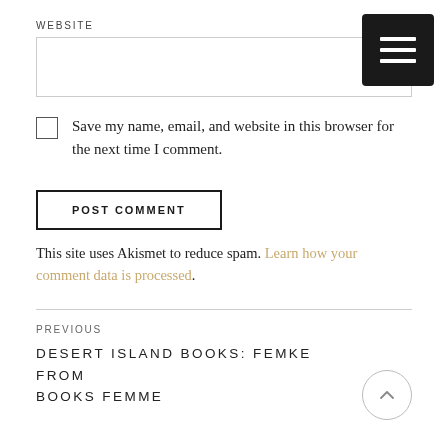WEBSITE
[Figure (other): Website input text field (empty)]
Save my name, email, and website in this browser for the next time I comment.
POST COMMENT
This site uses Akismet to reduce spam. Learn how your comment data is processed.
PREVIOUS
DESERT ISLAND BOOKS: FEMKE FROM BOOKS FEMME